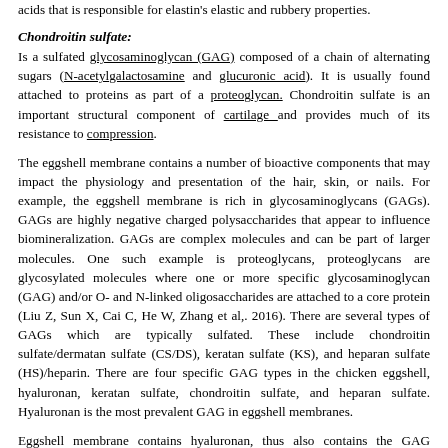acids that is responsible for elastin's elastic and rubbery properties.
Chondroitin sulfate:
Is a sulfated glycosaminoglycan (GAG) composed of a chain of alternating sugars (N-acetylgalactosamine and glucuronic acid). It is usually found attached to proteins as part of a proteoglycan. Chondroitin sulfate is an important structural component of cartilage and provides much of its resistance to compression.
The eggshell membrane contains a number of bioactive components that may impact the physiology and presentation of the hair, skin, or nails. For example, the eggshell membrane is rich in glycosaminoglycans (GAGs). GAGs are highly negative charged polysaccharides that appear to influence biomineralization. GAGs are complex molecules and can be part of larger molecules. One such example is proteoglycans, proteoglycans are glycosylated molecules where one or more specific glycosaminoglycan (GAG) and/or O- and N-linked oligosaccharides are attached to a core protein (Liu Z, Sun X, Cai C, He W, Zhang et al,. 2016). There are several types of GAGs which are typically sulfated. These include chondroitin sulfate/dermatan sulfate (CS/DS), keratan sulfate (KS), and heparan sulfate (HS)/heparin. There are four specific GAG types in the chicken eggshell, hyaluronan, keratan sulfate, chondroitin sulfate, and heparan sulfate. Hyaluronan is the most prevalent GAG in eggshell membranes.
Eggshell membrane contains hyaluronan, thus also contains the GAG hyaluronic acid (HA). HA production occurs in the skin and has been shown to stimulate internal production of HA with oral intake. Keratan sulfate (KS) is also a natural GAG occurring in the hydrolyzed eggshell